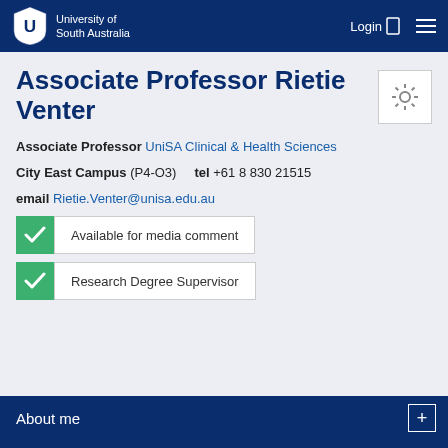University of South Australia — Login — Menu
Associate Professor Rietie Venter
Associate Professor UniSA Clinical & Health Sciences
City East Campus (P4-O3)   tel +61 8 830 21515
email Rietie.Venter@unisa.edu.au
Available for media comment
Research Degree Supervisor
About me